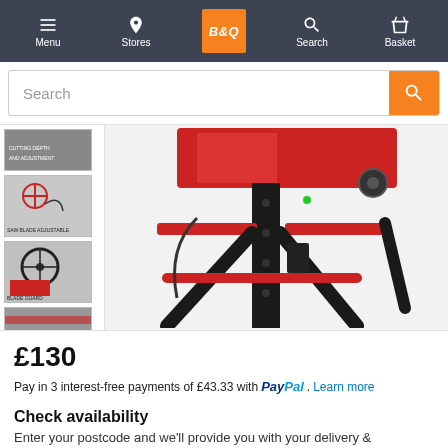Menu | Stores | B&Q | Search | Basket
[Figure (screenshot): B&Q website navigation bar with Menu, Stores, B&Q logo (orange), Search, and Basket icons on dark grey background]
[Figure (screenshot): Search bar with orange search button]
[Figure (photo): Product page showing a red table saw with black stand. Three thumbnail images on the left showing close-up details including saw blade adjustment, and a large main product image on the right.]
£130
Pay in 3 interest-free payments of £43.33 with PayPal. Learn more
Check availability
Enter your postcode and we'll provide you with your delivery &